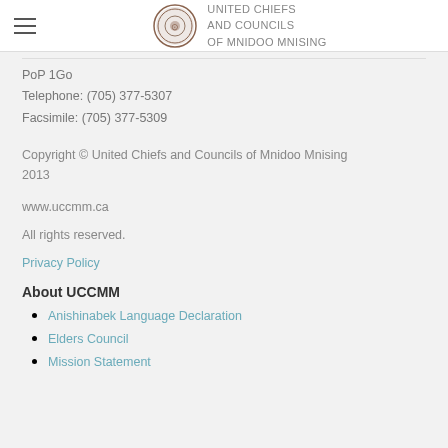UNITED CHIEFS and COUNCILS of MNIDOO MNISING
PoP 1Go
Telephone: (705) 377-5307
Facsimile: (705) 377-5309
Copyright © United Chiefs and Councils of Mnidoo Mnising 2013
www.uccmm.ca
All rights reserved.
Privacy Policy
About UCCMM
Anishinabek Language Declaration
Elders Council
Mission Statement